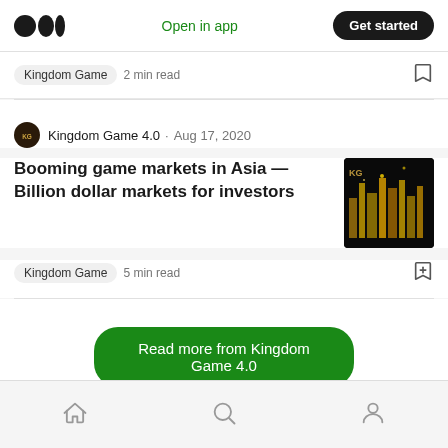Medium logo | Open in app | Get started
Kingdom Game · 2 min read
Kingdom Game 4.0 · Aug 17, 2020
Booming game markets in Asia — Billion dollar markets for investors
Kingdom Game · 5 min read
Read more from Kingdom Game 4.0
Home | Search | Profile